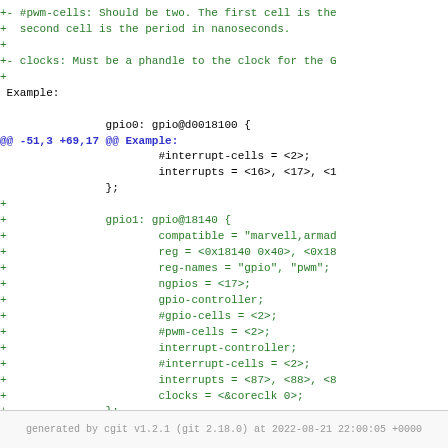diff code block showing gpio device tree additions including #pwm-cells, clocks, and gpio1 block
generated by cgit v1.2.1 (git 2.18.0) at 2022-08-21 22:00:05 +0000